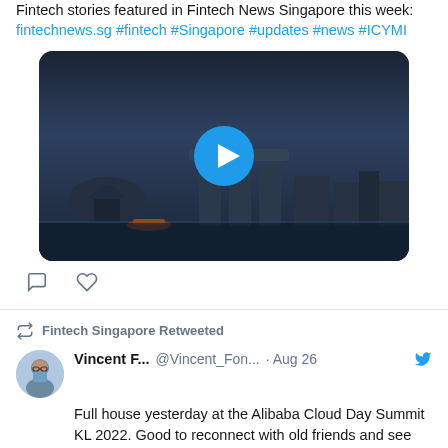Fintech stories featured in Fintech News Singapore this week: fintechnews.sg #fintech #Singapore #updates #news #ICYMI
[Figure (photo): Dark video thumbnail showing Marina Bay Sands Singapore skyline at dusk with a blue play button overlay in the center]
Fintech Singapore Retweeted
Vincent F... @Vincent_Fon... · Aug 26
Full house yesterday at the Alibaba Cloud Day Summit KL 2022. Good to reconnect with old friends and see new faces.

Had a lot of fruitful discussions, and sharing